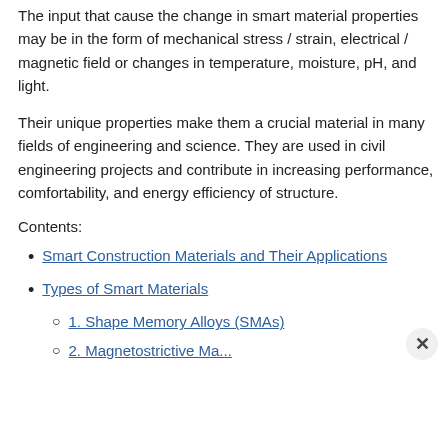The input that cause the change in smart material properties may be in the form of mechanical stress / strain, electrical / magnetic field or changes in temperature, moisture, pH, and light.
Their unique properties make them a crucial material in many fields of engineering and science. They are used in civil engineering projects and contribute in increasing performance, comfortability, and energy efficiency of structure.
Contents:
Smart Construction Materials and Their Applications
Types of Smart Materials
1. Shape Memory Alloys (SMAs)
2. Magnetostrictive Materials (partial)